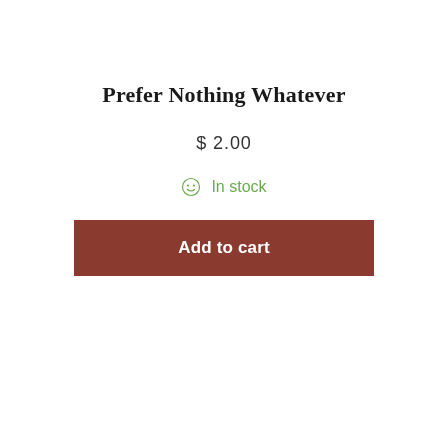Prefer Nothing Whatever
$ 2.00
☺  In stock
Add to cart